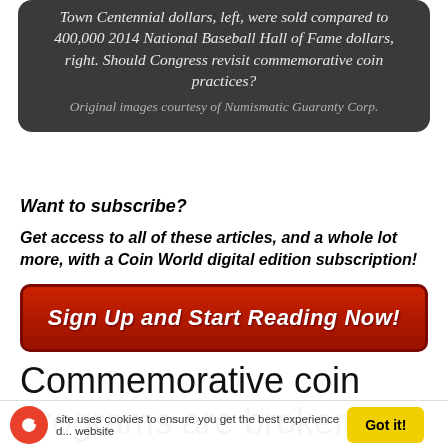Town Centennial dollars, left, were sold compared to 400,000 2014 National Baseball Hall of Fame dollars, right. Should Congress revisit commemorative coin practices? Original images courtesy of Numismatic Guaranty Corp.
Want to subscribe?
Get access to all of these articles, and a whole lot more, with a Coin World digital edition subscription!
[Figure (other): Red button reading 'Sign Up and Start Reading Now!']
Commemorative coin programs are broken
site uses cookies to ensure you get the best experience d... website